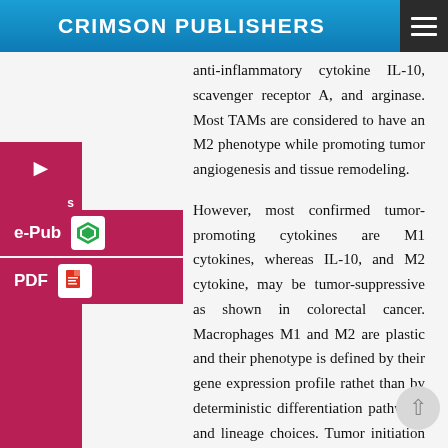CRIMSON PUBLISHERS
anti-inflammatory cytokine IL-10, scavenger receptor A, and arginase. Most TAMs are considered to have an M2 phenotype while promoting tumor angiogenesis and tissue remodeling.
However, most confirmed tumor-promoting cytokines are M1 cytokines, whereas IL-10, and M2 cytokine, may be tumor-suppressive as shown in colorectal cancer. Macrophages M1 and M2 are plastic and their phenotype is defined by their gene expression profile rathet than by deterministic differentiation pathways and lineage choices. Tumor initiation is